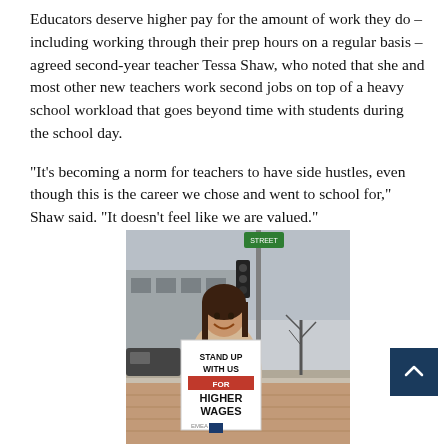Educators deserve higher pay for the amount of work they do – including working through their prep hours on a regular basis – agreed second-year teacher Tessa Shaw, who noted that she and most other new teachers work second jobs on top of a heavy school workload that goes beyond time with students during the school day.
“It’s becoming a norm for teachers to have side hustles, even though this is the career we chose and went to school for,” Shaw said. “It doesn’t feel like we are valued.”
[Figure (photo): A young woman stands on a street corner holding a sign that reads 'STAND UP WITH US FOR HIGHER WAGES' with a union logo. She is wearing a light-colored coat and smiling. Behind her is a street intersection with a traffic light, trees, a building, and parked cars. The setting appears to be a protest or rally.]